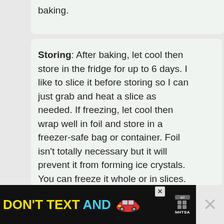baking.
Storing: After baking, let cool then store in the fridge for up to 6 days. I like to slice it before storing so I can just grab and heat a slice as needed. If freezing, let cool then wrap well in foil and store in a freezer-safe bag or container. Foil isn't totally necessary but it will prevent it from forming ice crystals. You can freeze it whole or in slices. Thaw overnight in the fridge if frozen.
Reheating: Reheat the baked loaf in the
[Figure (other): NHTSA advertisement banner: DON'T TEXT AND [car emoji] with ad badge and NHTSA logo. X close button on right.]